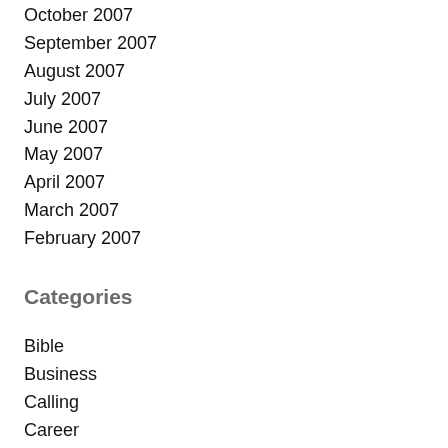October 2007
September 2007
August 2007
July 2007
June 2007
May 2007
April 2007
March 2007
February 2007
Categories
Bible
Business
Calling
Career
Customer service
Dating
D...